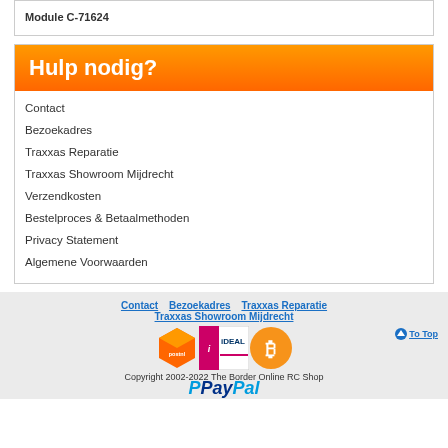Module C-71624
Hulp nodig?
Contact
Bezoekadres
Traxxas Reparatie
Traxxas Showroom Mijdrecht
Verzendkosten
Bestelproces & Betaalmethoden
Privacy Statement
Algemene Voorwaarden
Contact   Bezoekadres   Traxxas Reparatie   Traxxas Showroom Mijdrecht   Copyright 2002-2022 The Border Online RC Shop